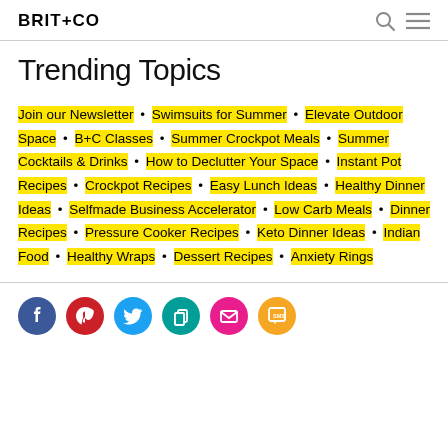BRIT+CO
Trending Topics
Join our Newsletter • Swimsuits for Summer • Elevate Outdoor Space • B+C Classes • Summer Crockpot Meals • Summer Cocktails & Drinks • How to Declutter Your Space • Instant Pot Recipes • Crockpot Recipes • Easy Lunch Ideas • Healthy Dinner Ideas • Selfmade Business Accelerator • Low Carb Meals • Dinner Recipes • Pressure Cooker Recipes • Keto Dinner Ideas • Indian Food • Healthy Wraps • Dessert Recipes • Anxiety Rings
[Figure (other): Social media share buttons: Facebook, Pinterest, Twitter, Copy, Email, SMS]